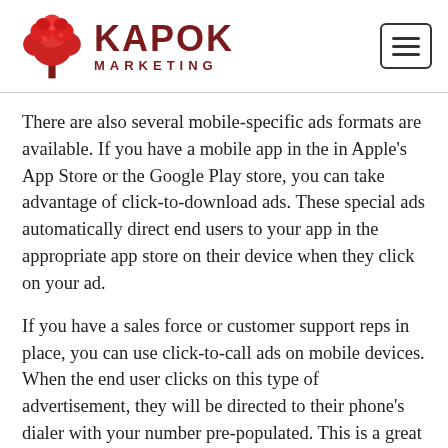Kapok Marketing
There are also several mobile-specific ads formats are available. If you have a mobile app in the in Apple's App Store or the Google Play store, you can take advantage of click-to-download ads. These special ads automatically direct end users to your app in the appropriate app store on their device when they click on your ad.
If you have a sales force or customer support reps in place, you can use click-to-call ads on mobile devices. When the end user clicks on this type of advertisement, they will be directed to their phone's dialer with your number pre-populated. This is a great way to capture high-value customers who are ready to make a call and a purchase.
Kapok Marketing Can Help